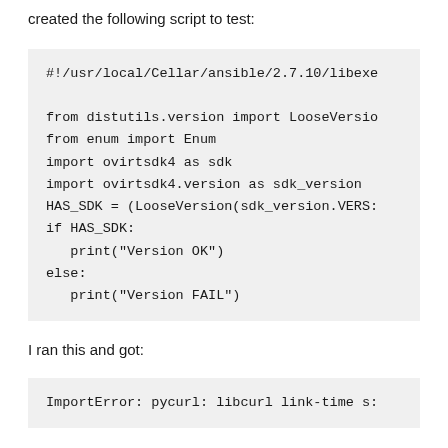created the following script to test:
#!/usr/local/Cellar/ansible/2.7.10/libexe

from distutils.version import LooseVersio
from enum import Enum
import ovirtsdk4 as sdk
import ovirtsdk4.version as sdk_version
HAS_SDK = (LooseVersion(sdk_version.VERS:
if HAS_SDK:
    print("Version OK")
else:
    print("Version FAIL")
I ran this and got:
ImportError: pycurl: libcurl link-time s:
OK, so my pycurl module needs to be built with openssl support: